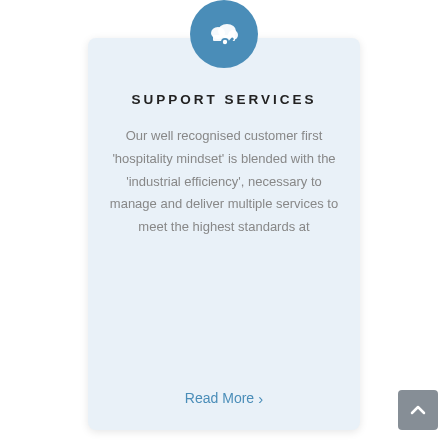[Figure (illustration): Blue circle icon with a cloud/gear/wrench support services icon in white]
SUPPORT SERVICES
Our well recognised customer first 'hospitality mindset' is blended with the 'industrial efficiency', necessary to manage and deliver multiple services to meet the highest standards at
Read More >